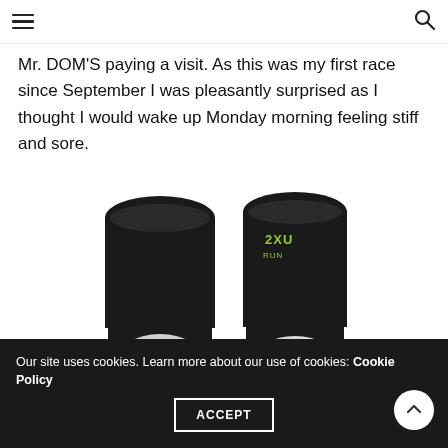☰ [menu] [search]
Mr. DOM'S paying a visit. As this was my first race since September I was pleasantly surprised as I thought I would wake up Monday morning feeling stiff and sore.
[Figure (photo): Two black compression running socks with green/neon accents and white heel area, showing front and back views. Brand logo visible on upper shaft.]
Our site uses cookies. Learn more about our use of cookies: Cookie Policy
ACCEPT